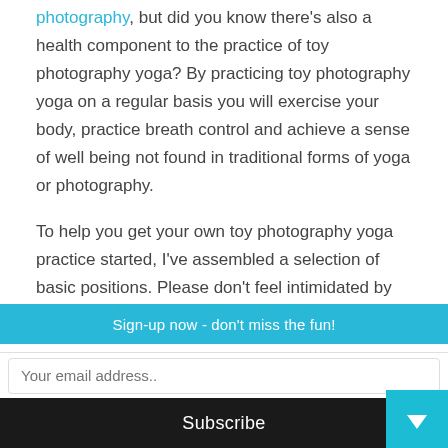photography, but did you know there's also a health component to the practice of toy photography yoga? By practicing toy photography yoga on a regular basis you will exercise your body, practice breath control and achieve a sense of well being not found in traditional forms of yoga or photography.
To help you get your own toy photography yoga practice started, I've assembled a selection of basic positions. Please don't feel intimidated by the following images: these are toy photography
Sign-up now - don't miss the fun!
Your email address..
Subscribe